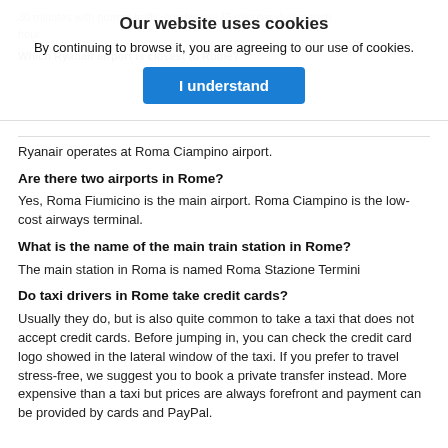30 minutes with normal traffic conditions, 45 minutes during rush hour.
Which Ryanair airport is closest to Rome?
Ryanair operates at Roma Ciampino airport.
Are there two airports in Rome?
Yes, Roma Fiumicino is the main airport. Roma Ciampino is the low-cost airways terminal.
What is the name of the main train station in Rome?
The main station in Roma is named Roma Stazione Termini
Do taxi drivers in Rome take credit cards?
Usually they do, but is also quite common to take a taxi that does not accept credit cards. Before jumping in, you can check the credit card logo showed in the lateral window of the taxi. If you prefer to travel stress-free, we suggest you to book a private transfer instead. More expensive than a taxi but prices are always forefront and payment can be provided by cards and PayPal.